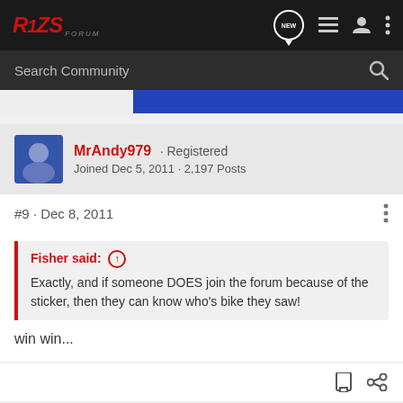R1ZS FORUM · NEW · [nav icons]
Search Community
MrAndy979 · Registered
Joined Dec 5, 2011 · 2,197 Posts
#9 · Dec 8, 2011
Fisher said: ↑
Exactly, and if someone DOES join the forum because of the sticker, then they can know who's bike they saw!
win win...